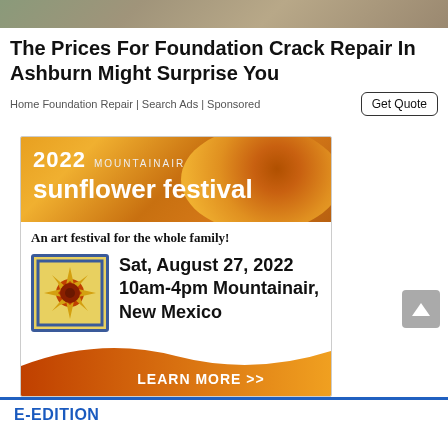[Figure (photo): Top strip image showing outdoor/ground texture in muted brown and gray tones]
The Prices For Foundation Crack Repair In Ashburn Might Surprise You
Home Foundation Repair | Search Ads | Sponsored
Get Quote
[Figure (illustration): 2022 Mountainair Sunflower Festival advertisement banner with sunflower background, showing event details: An art festival for the whole family! Sat, August 27, 2022, 10am-4pm Mountainair, New Mexico. LEARN MORE >>]
E-EDITION